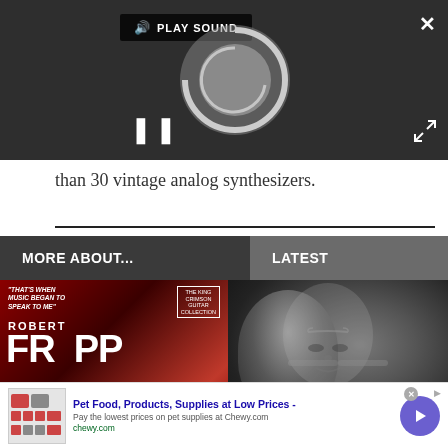[Figure (screenshot): Dark video player UI with PLAY SOUND label, loading spinner circle, pause button (two vertical bars), and close/expand controls on dark background.]
than 30 vintage analog synthesizers.
[Figure (infographic): Two-column section header bar: left column dark gray with 'MORE ABOUT...' in white bold, right column medium gray with 'LATEST' in white bold. Below: left shows Robert Fripp book/interview cover (red background), right shows black-and-white portrait photo of a person with glasses.]
[Figure (screenshot): Advertisement banner for Chewy.com: 'Pet Food, Products, Supplies at Low Prices - Pay the lowest prices on pet supplies at Chewy.com' with purple play button, close X button, and ad info icon.]